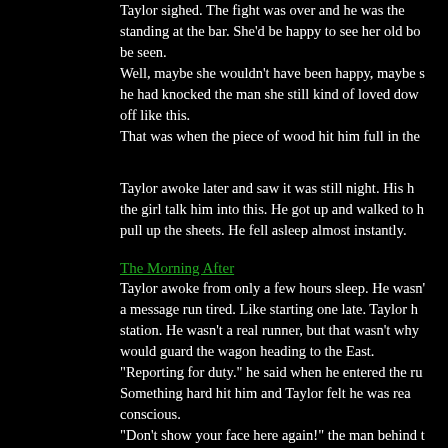Taylor sighed. The fight was over and he was the one standing at the bar. She'd be happy to see her old bo be seen. Well, maybe she wouldn't have been happy, maybe s he had knocked the man she still kind of loved dow off like this. That was when the piece of wood hit him full in the
Taylor awoke later and saw it was still night. His h the girl talk him into this. He got up and walked to h pull up the sheets. He fell asleep almost instantly.
The Morning After
Taylor awoke from only a few hours sleep. He wasn' a message run tired. Like starting one late. Taylor h station. He wasn't a real runner, but that wasn't why would guard the wagon heading to the East. "Reporting for duty." he said when he entered the ru Something hard hit him and Taylor felt he was rea conscious. "Don't show your face here again!" the man behind t "What happened?" he asked. "You knocked down your companion for the trip and his fists raised. Taylor managed to get out and make